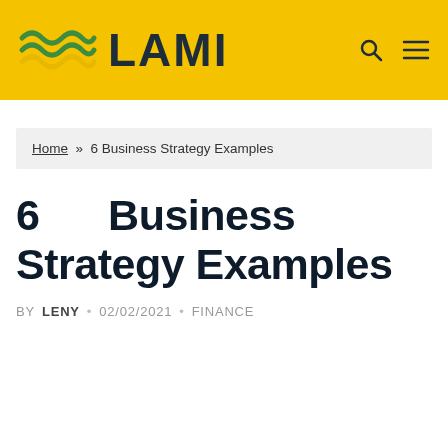LAMI
Home » 6 Business Strategy Examples
6 Business Strategy Examples
BY LENY · 02/02/2021 · FINANCE